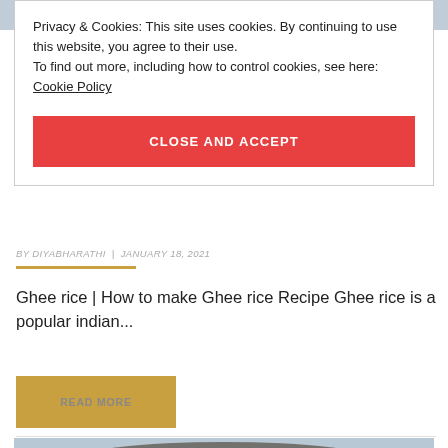[Figure (photo): Partial top image of a dish, cropped at the top of the page]
Privacy & Cookies: This site uses cookies. By continuing to use this website, you agree to their use.
To find out more, including how to control cookies, see here:
Cookie Policy
CLOSE AND ACCEPT
BY DIYABHARATHI | JANUARY 18, 2021
Ghee rice | How to make Ghee rice Recipe Ghee rice is a popular indian...
READ MORE
[Figure (photo): Partial bottom image of a dish, cropped at the bottom of the page]